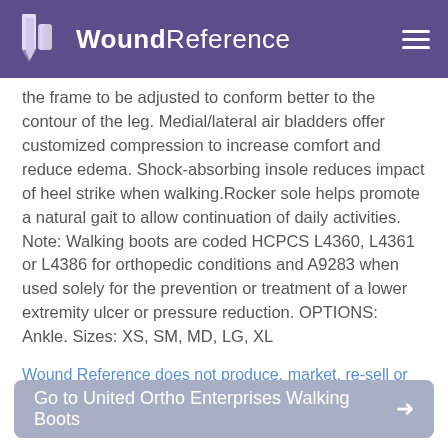WoundReference
the frame to be adjusted to conform better to the contour of the leg. Medial/lateral air bladders offer customized compression to increase comfort and reduce edema. Shock-absorbing insole reduces impact of heel strike when walking.Rocker sole helps promote a natural gait to allow continuation of daily activities. Note: Walking boots are coded HCPCS L4360, L4361 or L4386 for orthopedic conditions and A9283 when used solely for the prevention or treatment of a lower extremity ulcer or pressure reduction. OPTIONS: Ankle. Sizes: XS, SM, MD, LG, XL
Wound Reference does not produce, market, re-sell or distribute health care goods or services consumed by, or used on, patients.
Go to United Ortho Enterprises Walking Boots